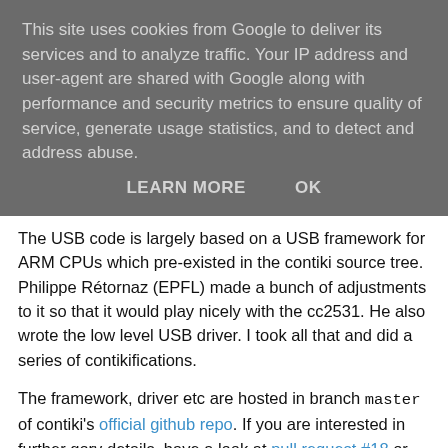This site uses cookies from Google to deliver its services and to analyze traffic. Your IP address and user-agent are shared with Google along with performance and security metrics to ensure quality of service, generate usage statistics, and to detect and address abuse.
LEARN MORE   OK
The USB code is largely based on a USB framework for ARM CPUs which pre-existed in the contiki source tree. Philippe Rétornaz (EPFL) made a bunch of adjustments to it so that it would play nicely with the cc2531. He also wrote the low level USB driver. I took all that and did a series of contikifications.
The framework, driver etc are hosted in branch master of contiki's official github repo. If you are interested in further gory details, have a look at pull request #18 or commits 0e55eb0947..79cffa030f. As ever, in order to get proper 6LoWPAN functionality on those things without a gazillion crashes, you will need to use the cc-ports branch on contiki-sensinode.